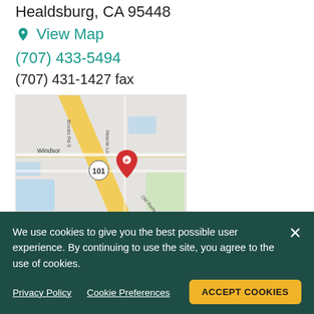Healdsburg, CA 95448
View Map
(707) 433-5494
(707) 431-1427 fax
[Figure (map): Google Maps screenshot showing location near Windsor and Healdsburg, CA along Highway 101 with a red location pin marker labeled P. Map data ©2022.]
ADDRESS:
8465 Old Redwood Highway
We use cookies to give you the best possible user experience. By continuing to use the site, you agree to the use of cookies.
Privacy Policy   Cookie Preferences   ACCEPT COOKIES